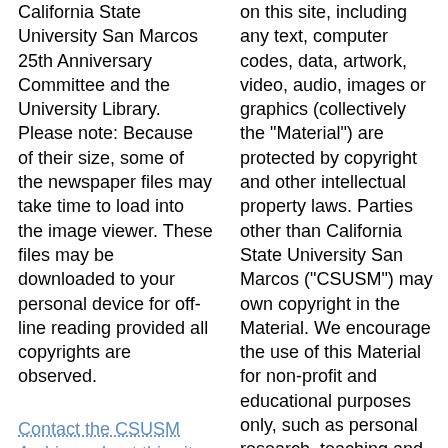California State University San Marcos 25th Anniversary Committee and the University Library. Please note: Because of their size, some of the newspaper files may take time to load into the image viewer. These files may be downloaded to your personal device for off-line reading provided all copyrights are observed.
Contact the CSUSM Archives about this site.
on this site, including any text, computer codes, data, artwork, video, audio, images or graphics (collectively the "Material") are protected by copyright and other intellectual property laws. Parties other than California State University San Marcos ("CSUSM") may own copyright in the Material. We encourage the use of this Material for non-profit and educational purposes only, such as personal research, teaching and private study. For these limited purposes, Material